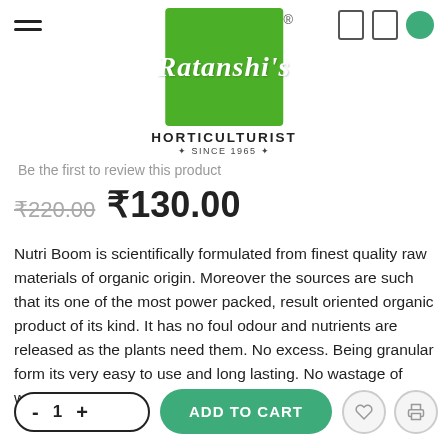[Figure (logo): Ratanshi's Horticulturist Since 1965 logo — green square with white cursive text 'Ratanshi's', registered trademark symbol, subtitle 'HORTICULTURIST ✦ SINCE 1965 ✦']
Be the first to review this product
₹220.00  ₹130.00
Nutri Boom is scientifically formulated from finest quality raw materials of organic origin. Moreover the sources are such that its one of the most power packed, result oriented organic product of its kind. It has no foul odour and nutrients are released as the plants need them. No excess. Being granular form its very easy to use and long lasting. No wastage of washaway.
- 1 + ADD TO CART